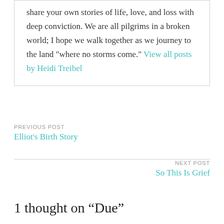share your own stories of life, love, and loss with deep conviction. We are all pilgrims in a broken world; I hope we walk together as we journey to the land "where no storms come." View all posts by Heidi Treibel
PREVIOUS POST
Elliot's Birth Story
NEXT POST
So This Is Grief
1 thought on “Due”